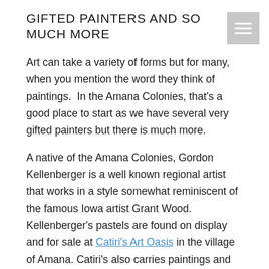GIFTED PAINTERS AND SO MUCH MORE
Art can take a variety of forms but for many, when you mention the word they think of paintings.  In the Amana Colonies, that's a good place to start as we have several very gifted painters but there is much more.
A native of the Amana Colonies, Gordon Kellenberger is a well known regional artist that works in a style somewhat reminiscent of the famous Iowa artist Grant Wood.  Kellenberger's pastels are found on display and for sale at Catiri's Art Oasis in the village of Amana.  Catiri's also carries paintings and prints from other Midwest artist along with other forms of art.  It is a must stop for anyone interested in art.
Michelle Maring-Miller is an artist from West Amana that